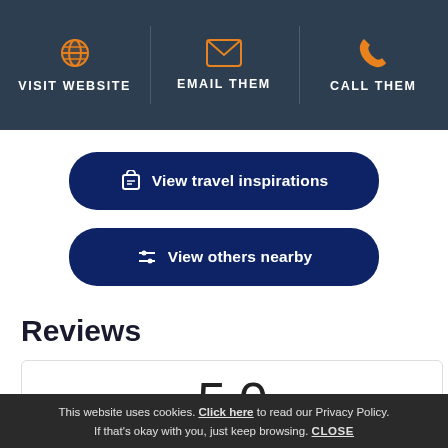[Figure (screenshot): Navigation header bar with three options: Visit Website (globe icon), Email Them (envelope icon), Call Them (phone icon), on dark blue background with orange icons]
View travel inspirations
View others nearby
Reviews
5.0
This website uses cookies. Click here to read our Privacy Policy. If that's okay with you, just keep browsing. CLOSE